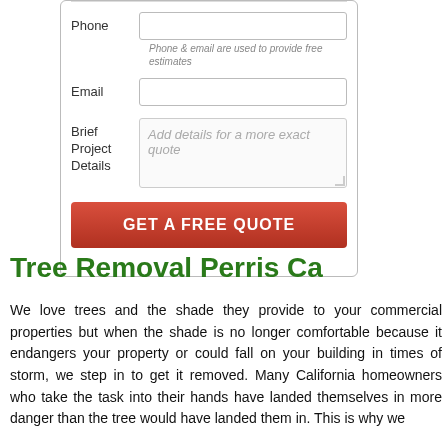[Figure (other): Web form with Phone, Email, Brief Project Details fields and a GET A FREE QUOTE button]
Tree Removal Perris Ca
We love trees and the shade they provide to your commercial properties but when the shade is no longer comfortable because it endangers your property or could fall on your building in times of storm, we step in to get it removed. Many California homeowners who take the task into their hands have landed themselves in more danger than the tree would have landed them in. This is why we